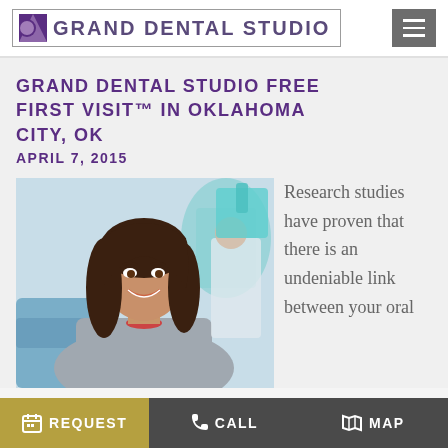GRAND DENTAL STUDIO
GRAND DENTAL STUDIO FREE FIRST VISIT™ IN OKLAHOMA CITY, OK
APRIL 7, 2015
[Figure (photo): Young woman smiling in dental chair with dental staff in background]
Research studies have proven that there is an undeniable link between your oral
REQUEST  CALL  MAP